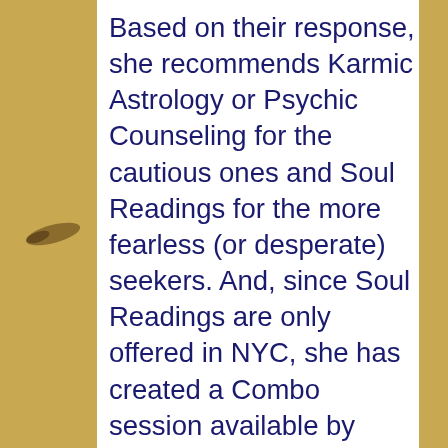Based on their response, she recommends Karmic Astrology or Psychic Counseling for the cautious ones and Soul Readings for the more fearless (or desperate) seekers. And, since Soul Readings are only offered in NYC, she has created a Combo session available by phone, combining Astrology with a mini-Soul
About Your Privacy
By using this website, you agree to our use of cookies. We use cookies to provide you with a great experience and to help our website run effectively.
Cookie settings   ACCEPT